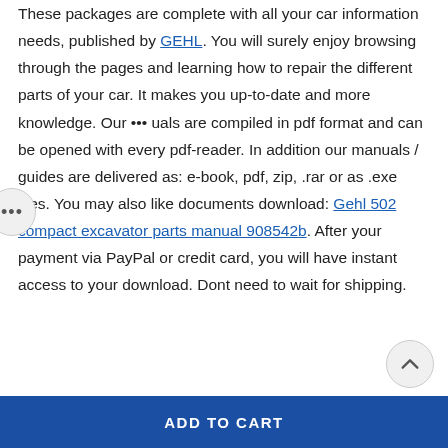These packages are complete with all your car information needs, published by GEHL. You will surely enjoy browsing through the pages and learning how to repair the different parts of your car. It makes you up-to-date and more knowledge. Our manuals are compiled in pdf format and can be opened with every pdf-reader. In addition our manuals / guides are delivered as: e-book, pdf, zip, .rar or as .exe files. You may also like documents download: Gehl 502 compact excavator parts manual 908542b. After your payment via PayPal or credit card, you will have instant access to your download. Dont need to wait for shipping.
ADD TO CART